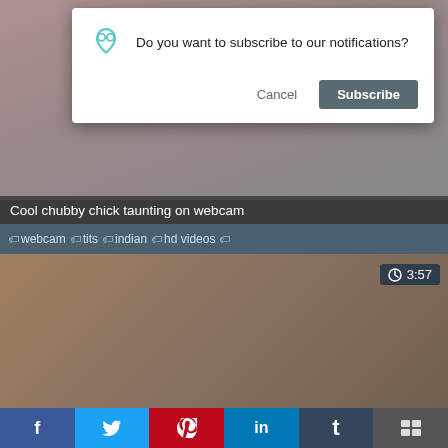[Figure (screenshot): Browser notification dialog asking 'Do you want to subscribe to our notifications?' with Cancel and Subscribe buttons, overlaid on a video thumbnail.]
Cool chubby chick taunting on webcam
#webcam #tits #indian #hd videos #
[Figure (screenshot): Video thumbnail showing close-up of hands, with a 3:57 timer badge in the top-right corner.]
f  Twitter  Pinterest  in  t  social share buttons